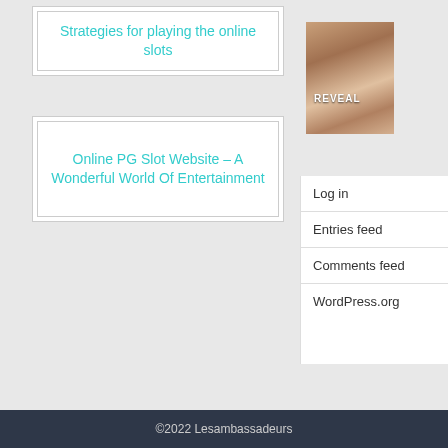Strategies for playing the online slots
Online PG Slot Website – A Wonderful World Of Entertainment
[Figure (photo): Promotional image with text REVEAL, showing two people, used as a sidebar advertisement]
Log in
Entries feed
Comments feed
WordPress.org
©2022 Lesambassadeurs